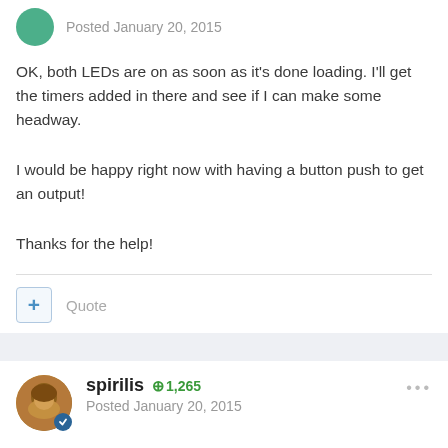Posted January 20, 2015
OK, both LEDs are on as soon as it's done loading. I'll get the timers added in there and see if I can make some headway.
I would be happy right now with having a button push to get an output!
Thanks for the help!
+ Quote
spirilis  1,265
Posted January 20, 2015
Use the builtin function "_delay_cycles()" to do your delay and skip your own delay function.